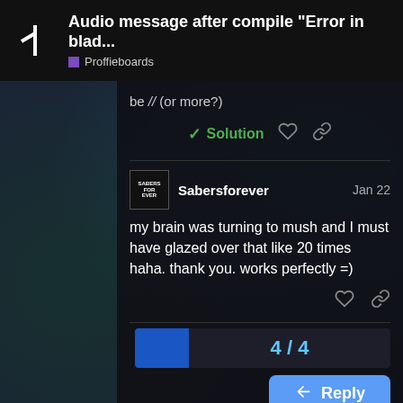Audio message after compile "Error in blad... | Proffieboards
be // (or more?)
✓ Solution
Sabersforever  Jan 22
my brain was turning to mush and I must have glazed over that like 20 times haha. thank you. works perfectly =)
4 / 4
Reply
Suggested Topics
lightsaber lag   17